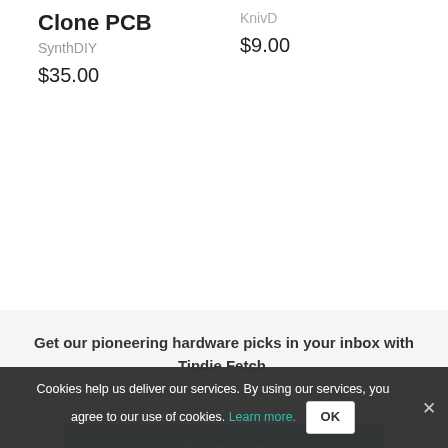Clone PCB
SynthDIY
$35.00
KnivD
$9.00
Get our pioneering hardware picks in your inbox with Tindie Fetch.
Join our mailing list!
Subscribe
[Figure (illustration): Partial illustration of a phone and a fox character at the bottom of the page]
Cookies help us deliver our services. By using our services, you agree to our use of cookies. Learn more.